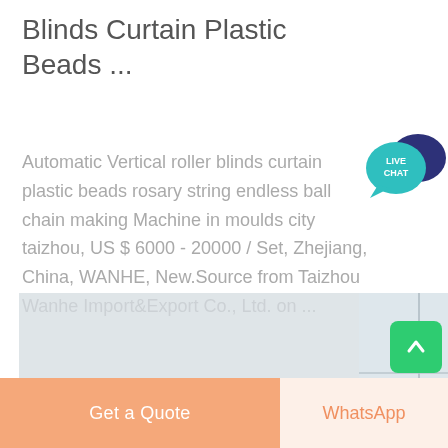Blinds Curtain Plastic Beads ...
Automatic Vertical roller blinds curtain plastic beads rosary string endless ball chain making Machine in moulds city taizhou, US $ 6000 - 20000 / Set, Zhejiang, China, WANHE, New.Source from Taizhou Wanhe Import&Export Co., Ltd. on ...
[Figure (photo): Photo of a yellow industrial machine (likely a ball chain making machine) in a factory setting with windows in the background. Image is partially faded/semi-transparent.]